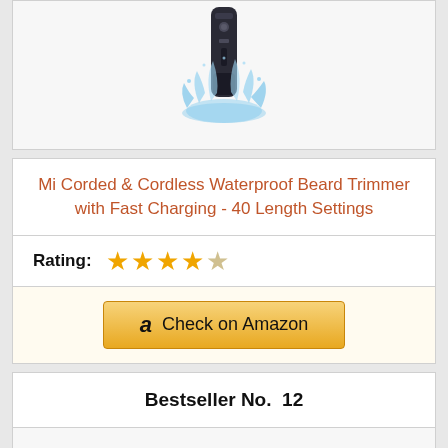[Figure (photo): Product photo of Mi Corded & Cordless Waterproof Beard Trimmer with water splash effect on grey background]
Mi Corded & Cordless Waterproof Beard Trimmer with Fast Charging - 40 Length Settings
Rating: ★★★★☆
Check on Amazon
Bestseller No.  12